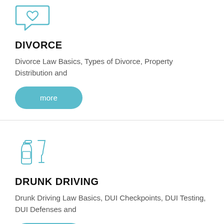[Figure (illustration): Teal outline icon of a speech bubble with a heart symbol inside]
DIVORCE
Divorce Law Basics, Types of Divorce, Property Distribution and
[Figure (illustration): Teal 'more' button with rounded pill shape]
[Figure (illustration): Teal outline icon of a wine bottle and wine glass]
DRUNK DRIVING
Drunk Driving Law Basics, DUI Checkpoints, DUI Testing, DUI Defenses and
[Figure (illustration): Teal 'more' button with rounded pill shape, partially visible]